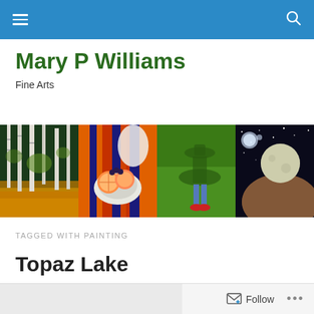Navigation bar with hamburger menu and search icon
Mary P Williams
Fine Arts
[Figure (photo): Banner with four paintings side by side: birch forest with autumn leaves, still life with citrus fruit on colorful blanket, shadow of person on grass with red shoes, space scene with moons and planet]
TAGGED WITH PAINTING
Topaz Lake
Follow ...